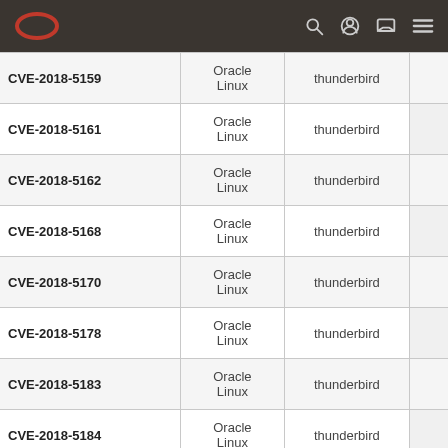Oracle Linux navigation header
| CVE | OS | Package |  |
| --- | --- | --- | --- |
| CVE-2018-5159 | Oracle Linux | thunderbird |  |
| CVE-2018-5161 | Oracle Linux | thunderbird |  |
| CVE-2018-5162 | Oracle Linux | thunderbird |  |
| CVE-2018-5168 | Oracle Linux | thunderbird |  |
| CVE-2018-5170 | Oracle Linux | thunderbird |  |
| CVE-2018-5178 | Oracle Linux | thunderbird |  |
| CVE-2018-5183 | Oracle Linux | thunderbird |  |
| CVE-2018-5184 | Oracle Linux | thunderbird |  |
| CVE-2018-5185 | Oracle Linux | thunderbird |  |
| CVE-2016-5003 | Oracle Linux | xmlrpc3 |  |